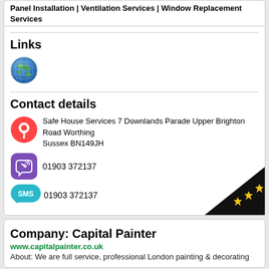Panel Installation | Ventilation Services | Window Replacement Services
Links
[Figure (illustration): Globe/world icon]
Contact details
Safe House Services 7 Downlands Parade Upper Brighton Road Worthing Sussex BN149JH
01903 372137
01903 372137
Company: Capital Painter
www.capitalpainter.co.uk
About: We are full service, professional London painting & decorating